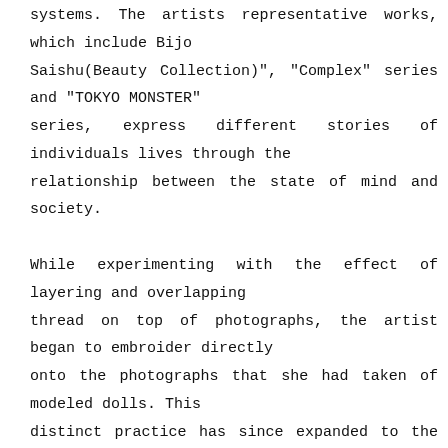systems. The artists representative works, which include Bijo Saishu(Beauty Collection)", "Complex" series and "TOKYO MONSTER" series, express different stories of individuals lives through the relationship between the state of mind and society.
While experimenting with the effect of layering and overlapping thread on top of photographs, the artist began to embroider directly onto the photographs that she had taken of modeled dolls. This distinct practice has since expanded to the production of mixed media works encompassing books, fabric, magazines, and paintings.
KIYOKAWA has furthered this exploration into various genres and media, not only as an embroiderer but also as an artist who is active in a variety of fields including art direction, creative advertising, film